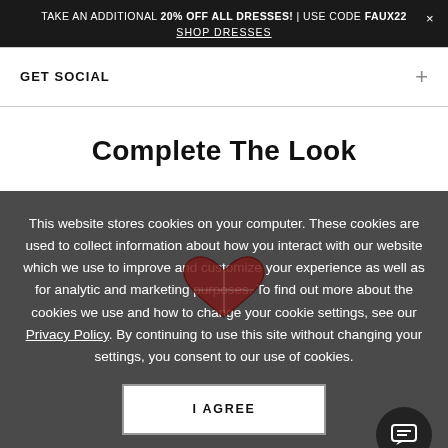TAKE AN ADDITIONAL 20% OFF ALL DRESSES! | USE CODE FAUX22 × SHOP DRESSES
GET SOCIAL +
Complete The Look
This website stores cookies on your computer. These cookies are used to collect information about how you interact with our website which we use to improve and customize your experience as well as for analytic and marketing purposes. To find out more about the cookies we use and how to change your cookie settings, see our Privacy Policy. By continuing to use this site without changing your settings, you consent to our use of cookies.
I AGREE
Banded Bikini Bottom